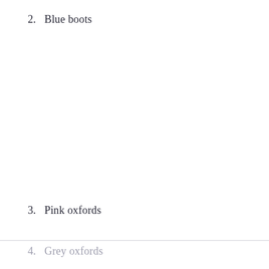2.   Blue boots
3.   Pink oxfords
4.   Grey oxfords